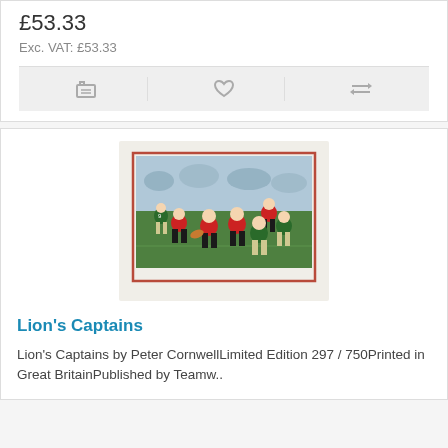£53.33
Exc. VAT: £53.33
[Figure (photo): A framed limited edition rugby print showing British Lions players in red jerseys playing against green-jerseyed opponents on a rugby field with a crowd in the background. The print is matted in cream/white with a thin red border frame.]
Lion's Captains
Lion's Captains by Peter CornwellLimited Edition 297 / 750Printed in Great BritainPublished by Teamw..